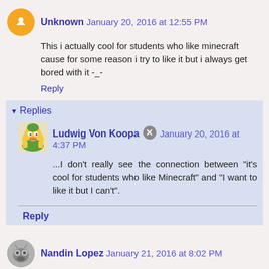Unknown  January 20, 2016 at 12:55 PM
This i actually cool for students who like minecraft cause for some reason i try to like it but i always get bored with it -_-
Reply
Replies
Ludwig Von Koopa  January 20, 2016 at 4:37 PM
...I don't really see the connection between "it's cool for students who like Minecraft" and "I want to like it but I can't".
Reply
Nandin Lopez  January 21, 2016 at 8:02 PM
Fun Fact: I liked Minecraft. *gasp!* Then I got bored... after a year. *no way!* My sister still plays it, and we still have it on the...